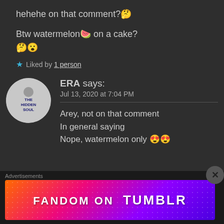hehehe on that comment? 🤔
Btw watermelon🍉 on a cake? 🤔😮
★ Liked by 1 person
ERA says: Jul 13, 2020 at 7:04 PM
Arey, not on that comment
In general saying
Nope, watermelon only 😍😍
Advertisements
[Figure (other): Fandom on Tumblr advertisement banner with colorful gradient background]